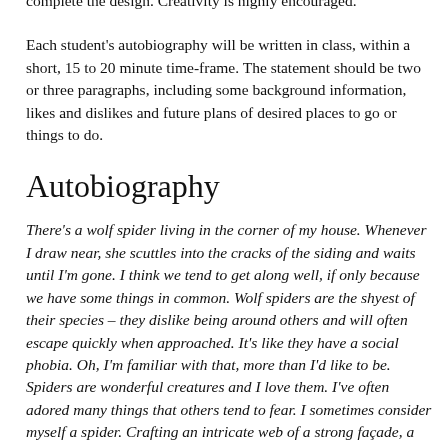complete the design. Creativity is highly encouraged.
Each student's autobiography will be written in class, within a short, 15 to 20 minute time-frame. The statement should be two or three paragraphs, including some background information, likes and dislikes and future plans of desired places to go or things to do.
Autobiography
There's a wolf spider living in the corner of my house. Whenever I draw near, she scuttles into the cracks of the siding and waits until I'm gone. I think we tend to get along well, if only because we have some things in common. Wolf spiders are the shyest of their species – they dislike being around others and will often escape quickly when approached. It's like they have a social phobia. Oh, I'm familiar with that, more than I'd like to be. Spiders are wonderful creatures and I love them. I've often adored many things that others tend to fear. I sometimes consider myself a spider. Crafting an intricate web of a strong façade, a mask, and lying in wait, hiding in the corners, hoping a nice little fly may come to pay me a visit.
Of course, unlike the spider, I won't wrap you up and save you for